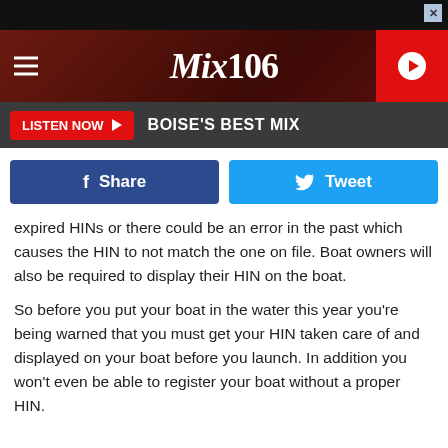[Figure (screenshot): Black ad banner bar at top with X close button]
[Figure (logo): Mix 106 radio station header banner with hamburger menu, Mix106 logo in italic, and red play button]
[Figure (screenshot): Dark grey Listen Now bar with red LISTEN NOW button and BOISE'S BEST MIX text]
[Figure (screenshot): Social sharing row with Facebook Share button (dark blue) and Tweet button (light blue)]
expired HINs or there could be an error in the past which causes the HIN to not match the one on file. Boat owners will also be required to display their HIN on the boat.
So before you put your boat in the water this year you're being warned that you must get your HIN taken care of and displayed on your boat before you launch. In addition you won't even be able to register your boat without a proper HIN.